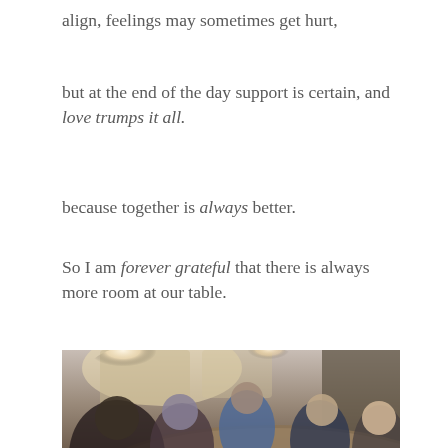align, feelings may sometimes get hurt,
but at the end of the day support is certain, and love trumps it all.
because together is always better.
So I am forever grateful that there is always more room at our table.
[Figure (photo): Family gathered around a dining table sharing a meal, viewed from above at an angle, with natural light from windows in the background]